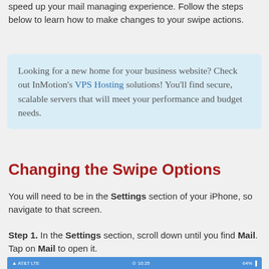speed up your mail managing experience. Follow the steps below to learn how to make changes to your swipe actions.
Looking for a new home for your business website? Check out InMotion's VPS Hosting solutions! You'll find secure, scalable servers that will meet your performance and budget needs.
Changing the Swipe Options
You will need to be in the Settings section of your iPhone, so navigate to that screen.
Step 1. In the Settings section, scroll down until you find Mail. Tap on Mail to open it.
[Figure (screenshot): Bottom status bar of an iPhone screenshot showing AT&T LTE, time 10:25, and battery 64%]